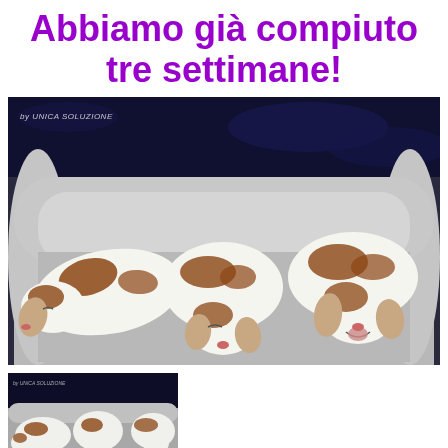Abbiamo già compiuto tre settimane!
[Figure (photo): Three small white and brown puppies (Cavalier King Charles Spaniel or similar breed) sleeping and resting in a gray dog bed. Watermark reads 'by UNICA SOLUZIONE' in top left corner.]
[Figure (photo): Thumbnail version of a similar photo showing puppies in a dark-background image, smaller size at bottom left.]